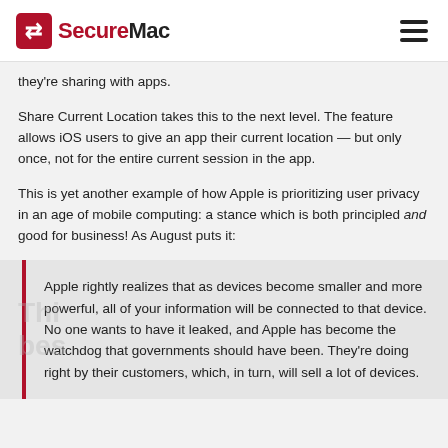SecureMac
they're sharing with apps.
Share Current Location takes this to the next level. The feature allows iOS users to give an app their current location — but only once, not for the entire current session in the app.
This is yet another example of how Apple is prioritizing user privacy in an age of mobile computing: a stance which is both principled and good for business! As August puts it:
Apple rightly realizes that as devices become smaller and more powerful, all of your information will be connected to that device. No one wants to have it leaked, and Apple has become the watchdog that governments should have been. They're doing right by their customers, which, in turn, will sell a lot of devices.